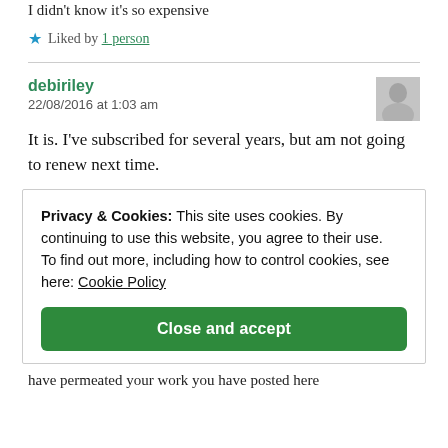I didn't know it's so expensive
★ Liked by 1 person
debiriley
22/08/2016 at 1:03 am
It is. I've subscribed for several years, but am not going to renew next time.
Privacy & Cookies: This site uses cookies. By continuing to use this website, you agree to their use.
To find out more, including how to control cookies, see here: Cookie Policy
Close and accept
have permeated your work you have posted here